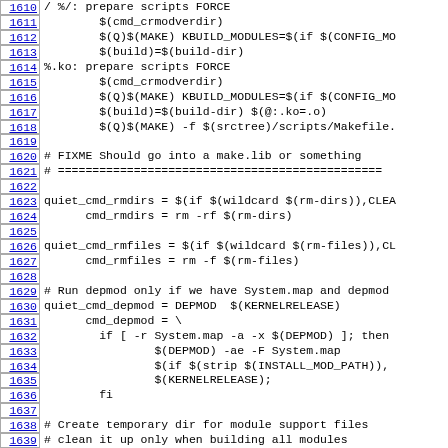Code listing lines 1610-1639 from a Makefile/build script source file